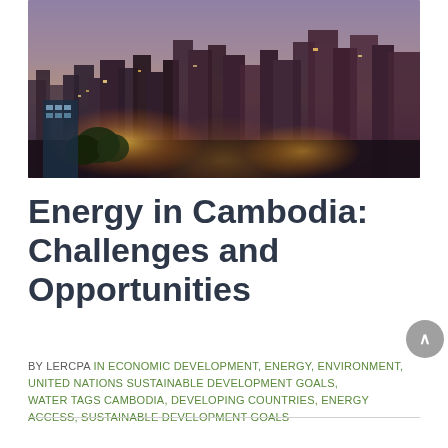[Figure (photo): Aerial/elevated view of Phnom Penh, Cambodia cityscape at dusk/twilight, showing dense urban buildings, warm lights in the foreground, and a purple-hued sky in the background.]
Energy in Cambodia: Challenges and Opportunities
BY LERCPA  IN ECONOMIC DEVELOPMENT, ENERGY, ENVIRONMENT, UNITED NATIONS SUSTAINABLE DEVELOPMENT GOALS, WATER  TAGS CAMBODIA, DEVELOPING COUNTRIES, ENERGY ACCESS, SUSTAINABLE DEVELOPMENT GOALS